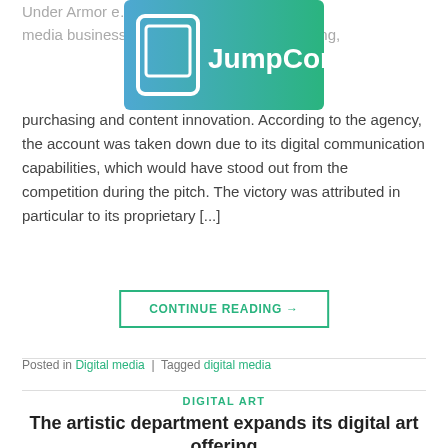[Figure (logo): JumpCon logo with monitor icon on green gradient background]
Under Armor e… with its digital media business… …strategy, planning, purchasing and content innovation. According to the agency, the account was taken down due to its digital communication capabilities, which would have stood out from the competition during the pitch. The victory was attributed in particular to its proprietary [...]
CONTINUE READING →
Posted in Digital media | Tagged digital media
DIGITAL ART
The artistic department expands its digital art offering
POSTED ON AUGUST 10, 2021 BY VIOLA C. LOVE